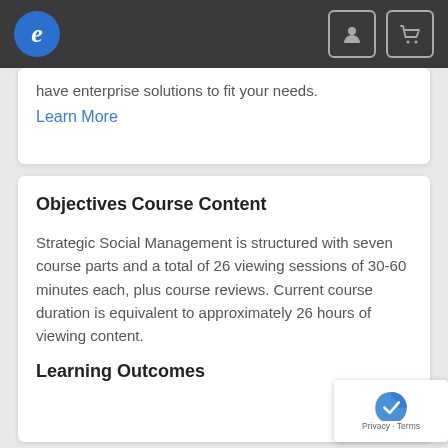e [navigation bar with logo and icons]
have enterprise solutions to fit your needs.
Learn More
Objectives
Course Content
Strategic Social Management is structured with seven course parts and a total of 26 viewing sessions of 30-60 minutes each, plus course reviews. Current course duration is equivalent to approximately 26 hours of viewing content.
Learning Outcomes